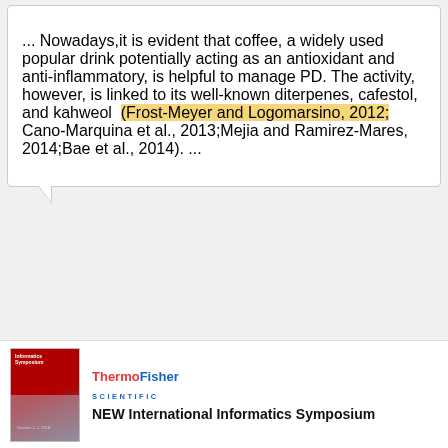... Nowadays,it is evident that coffee, a widely used popular drink potentially acting as an antioxidant and anti-inflammatory, is helpful to manage PD. The activity, however, is linked to its well-known diterpenes, cafestol, and kahweol (Frost-Meyer and Logomarsino, 2012; Cano-Marquina et al., 2013;Mejia and Ramirez-Mares, 2014;Bae et al., 2014). ...
Diterpenes: Advances in Neurobiological Drug Research
Article
[Figure (screenshot): Dark advertisement overlay with red bracket icon and text 'Are marketing budgets on autopilot?' with close button]
[Figure (illustration): ThermoFisher Scientific advertisement with red/grey journal cover image and text 'NEW International Informatics Symposium']